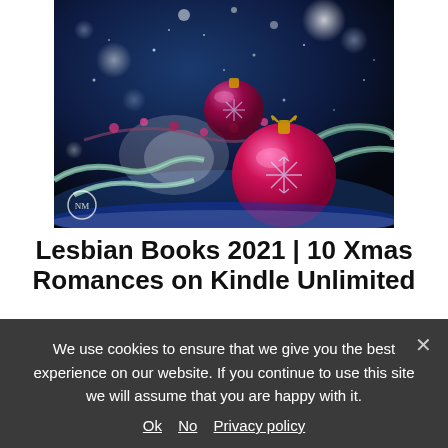[Figure (photo): A festive Christmas photo showing pink/magenta ornament balls, pine branches covered in snow/frost, and bokeh lights against a dark blue background. A small circular logo is visible in the lower-left corner.]
Lesbian Books 2021 | 10 Xmas Romances on Kindle Unlimited
It is that time of year when things start to get decidedly chilly up here in the Northern Hemisphere
We use cookies to ensure that we give you the best experience on our website. If you continue to use this site we will assume that you are happy with it. Ok No Privacy policy